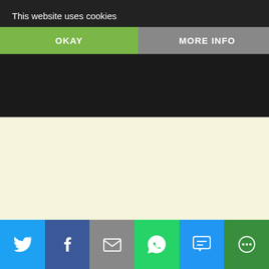Partisans(modern day JNA) our enemies the same! So from that historical perspective that Tudjman switched sides and that is he finally saw and he recognized can't find the evidence to back up that according to Ina -"Croats do not necessarily because there were many Croats who were Communist Party during Yugoslav times. Croats were members of the Communist Party a genuine belief in the system or through but as of 1990 and the overwhelming referendum which Croatians voted out of Yugo. there cowtowing to the apparatchiks that pushed nightmare! There should have been a proper changing of the guard – unfortunately find it incredulous that anyone would expect democratic system there today, and more Communism???? WHY?? Did Tudjman as President of Croatia and apologize for as a former Communist? Did he, as President
This website uses cookies
OKAY
MORE INFO
[Figure (screenshot): Social media sharing bar at the bottom with Twitter (blue), Facebook (dark blue), Email (gray), WhatsApp (green), SMS (light blue), and More (dark green) buttons with white icons]